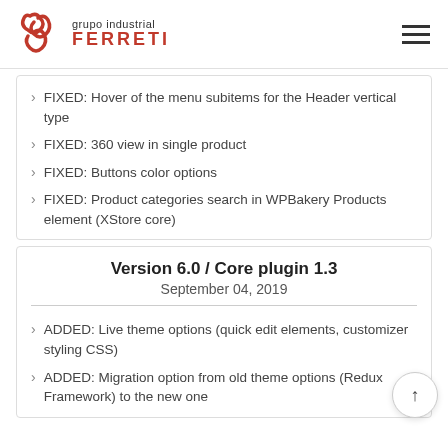grupo industrial FERRETI
FIXED: Hover of the menu subitems for the Header vertical type
FIXED: 360 view in single product
FIXED: Buttons color options
FIXED: Product categories search in WPBakery Products element (XStore core)
Version 6.0 / Core plugin 1.3
September 04, 2019
ADDED: Live theme options (quick edit elements, customizer styling CSS)
ADDED: Migration option from old theme options (Redux Framework) to the new one